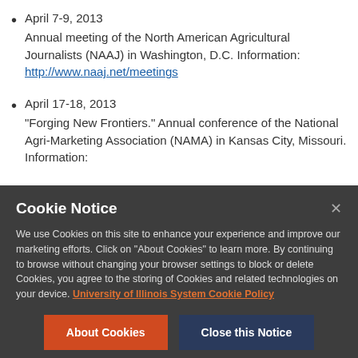April 7-9, 2013
Annual meeting of the North American Agricultural Journalists (NAAJ) in Washington, D.C. Information: http://www.naaj.net/meetings
April 17-18, 2013
“Forging New Frontiers.” Annual conference of the National Agri-Marketing Association (NAMA) in Kansas City, Missouri. Information:
Cookie Notice
We use Cookies on this site to enhance your experience and improve our marketing efforts. Click on “About Cookies” to learn more. By continuing to browse without changing your browser settings to block or delete Cookies, you agree to the storing of Cookies and related technologies on your device. University of Illinois System Cookie Policy